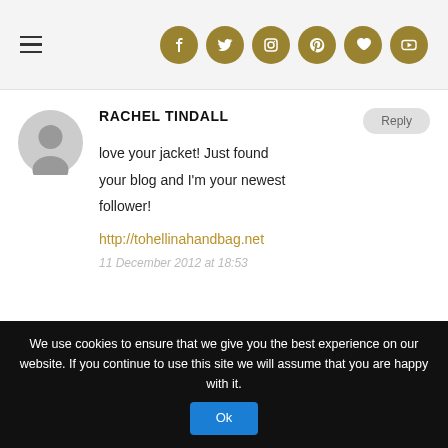Navigation menu and social icons (Facebook, Twitter, Instagram, Pinterest, Bloglovin, YouTube)
RACHEL TINDALL
love your jacket! Just found your blog and I'm your newest follower!
http://tohellinahandbag.net
11 December 2012 at 18:53
MARIA MEDIK
Today on my blog a post about one of your looks!
We use cookies to ensure that we give you the best experience on our website. If you continue to use this site we will assume that you are happy with it. Ok